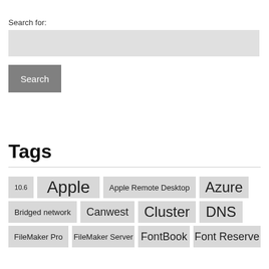Search for:
[Figure (other): Search input text box (grey rectangle)]
[Figure (other): Search button (grey rectangle with white 'Search' text)]
Tags
10.6
Apple
Apple Remote Desktop
Azure
Bridged network
Canwest
Cluster
DNS
FileMaker Pro
FileMaker Server
FontBook
Font Reserve